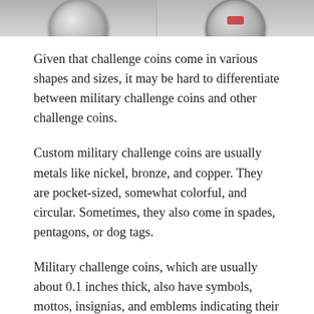[Figure (photo): Two military challenge coins photographed side by side, showing circular metallic coins with ridged edges, partially cropped at top of page.]
Given that challenge coins come in various shapes and sizes, it may be hard to differentiate between military challenge coins and other challenge coins.
Custom military challenge coins are usually metals like nickel, bronze, and copper. They are pocket-sized, somewhat colorful, and circular. Sometimes, they also come in spades, pentagons, or dog tags.
Military challenge coins, which are usually about 0.1 inches thick, also have symbols, mottos, insignias, and emblems indicating their possessors office or unit.
Read Also: Verizon Military Discount On Phones